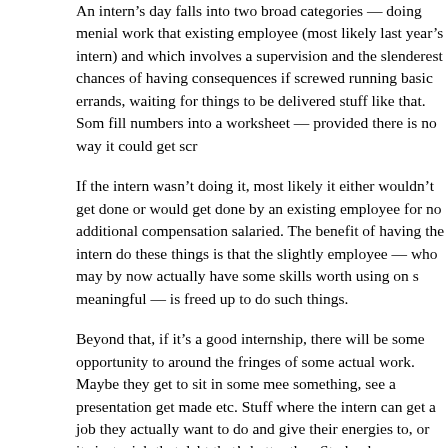An intern's day falls into two broad categories – doing menial work that existing employee (most likely last year's intern) and which involves a supervision and the slenderest chances of having consequences if screwed running basic errands, waiting for things to be delivered stuff like that. Som fill numbers into a worksheet – provided there is no way it could get scr
If the intern wasn't doing it, most likely it either wouldn't get done or would get done by an existing employee for no additional compensation salaried. The benefit of having the intern do these things is that the slightly employee – who may by now actually have some skills worth using on s meaningful – is freed up to do such things.
Beyond that, if it's a good internship, there will be some opportunity to around the fringes of some actual work. Maybe they get to sit in some mee something, see a presentation get made etc. Stuff where the intern can get a job they actually want to do and give their energies to, or its just a job that debt that's better than Starbucks.
An intern is usually assigned a mentor. Predictably some are good and som should help answer some questions as arise about how things work and wh even listen to some creative ideas the intern has. Usually there is a part of